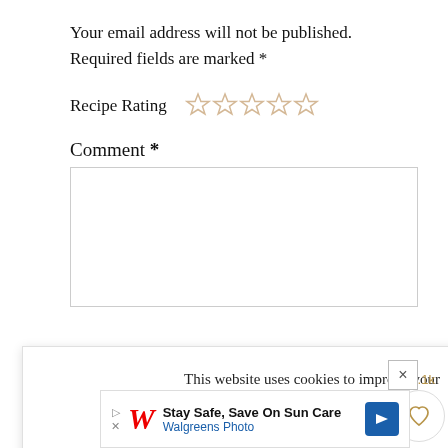Your email address will not be published. Required fields are marked *
Recipe Rating ☆☆☆☆☆
Comment *
[Figure (screenshot): Empty comment text area input box]
This website uses cookies to improve your experience, you can opt-out if you wish.
ACCEPT   Cookie Settings
15.1k
[Figure (other): Heart (favorite) button circle]
[Figure (other): Search magnifier button gold circle]
Name *
[Figure (other): Walgreens ad banner: Stay Safe, Save On Sun Care]